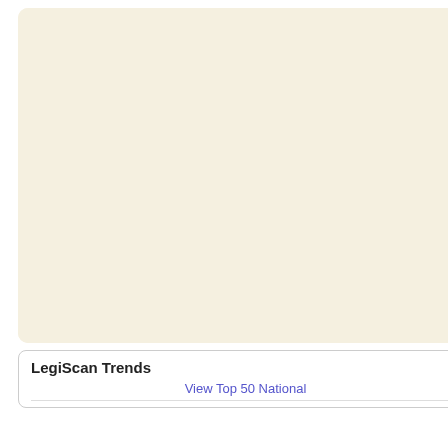2022 Schedules
2023 Schedules
Price List
LegiScan API
Weekly Datasets
Documentation
Search Help
Voter Registration
Governor Deadlines & Effective Dates
Legislation 101
On Bill Numbers
State Support
LegiScan Trends
View Top 50 National
| Stance | State | Bill | Sta |
| --- | --- | --- | --- |
| [search] | WV | HB4002 | Pas |
| [search] | WV | HB4264 | Pas |
| [search] | WV | HB4331 | Pas |
| [search] | WV | HB4560 |  |
| [search] | WV | HB4565 |  |